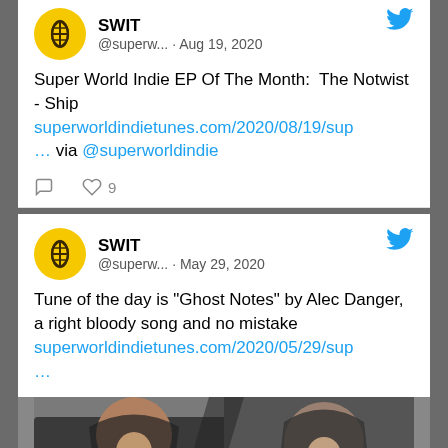SWIT @superw... · Aug 19, 2020
Super World Indie EP Of The Month:  The Notwist - Ship
superworldindietunes.com/2020/08/19/sup… via @superworldindie
SWIT @superw... · May 29, 2020
Tune of the day is "Ghost Notes" by Alec Danger, a right bloody song and no mistake
superworldindietunes.com/2020/05/29/sup…
[Figure (photo): Photo of a person wearing a hoodie, partially obscured, dark tones]